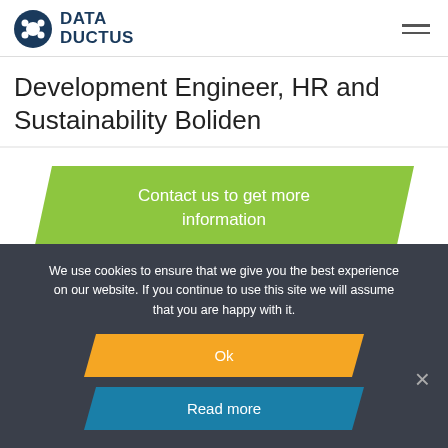DATA DUCTUS
Development Engineer, HR and Sustainability Boliden
[Figure (infographic): Green parallelogram banner with text: Contact us to get more information]
We use cookies to ensure that we give you the best experience on our website. If you continue to use this site we will assume that you are happy with it.
Ok
Read more